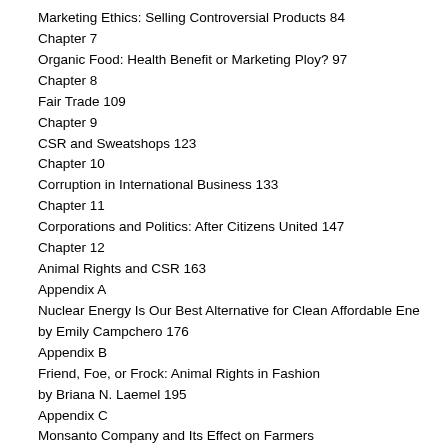Marketing Ethics: Selling Controversial Products 84
Chapter 7
Organic Food: Health Benefit or Marketing Ploy? 97
Chapter 8
Fair Trade 109
Chapter 9
CSR and Sweatshops 123
Chapter 10
Corruption in International Business 133
Chapter 11
Corporations and Politics: After Citizens United 147
Chapter 12
Animal Rights and CSR 163
Appendix A
Nuclear Energy Is Our Best Alternative for Clean Affordable Ene by Emily Campchero 176
Appendix B
Friend, Foe, or Frock: Animal Rights in Fashion by Briana N. Laemel 195
Appendix C
Monsanto Company and Its Effect on Farmers